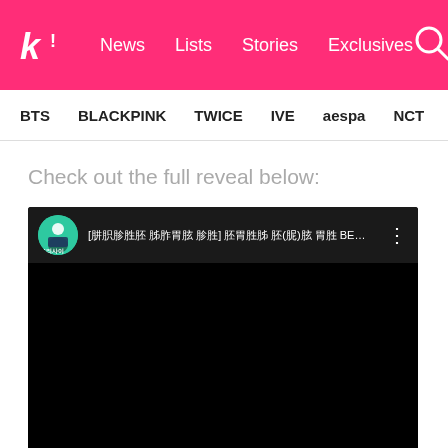k! News Lists Stories Exclusives
BTS BLACKPINK TWICE IVE aespa NCT SEVE
Check out the full reveal below:
[Figure (screenshot): Embedded YouTube video player showing a dark/black video with channel avatar (green circle with person) and Korean title text: [그리사이금선] 레서팬더 미(美)녀 대결 BEST 5! (EP... with three-dot menu icon]